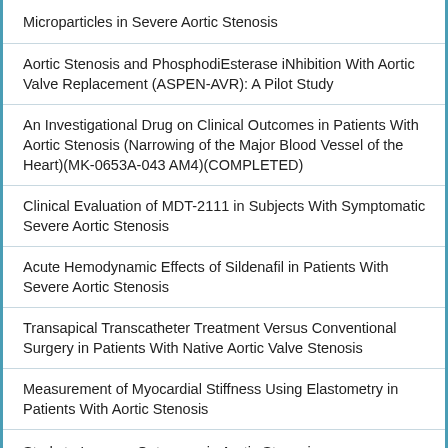Microparticles in Severe Aortic Stenosis
Aortic Stenosis and PhosphodiEsterase iNhibition With Aortic Valve Replacement (ASPEN-AVR): A Pilot Study
An Investigational Drug on Clinical Outcomes in Patients With Aortic Stenosis (Narrowing of the Major Blood Vessel of the Heart)(MK-0653A-043 AM4)(COMPLETED)
Clinical Evaluation of MDT-2111 in Subjects With Symptomatic Severe Aortic Stenosis
Acute Hemodynamic Effects of Sildenafil in Patients With Severe Aortic Stenosis
Transapical Transcatheter Treatment Versus Conventional Surgery in Patients With Native Aortic Valve Stenosis
Measurement of Myocardial Stiffness Using Elastometry in Patients With Aortic Stenosis
Study to Improve Outcomes in Aortic Stenosis